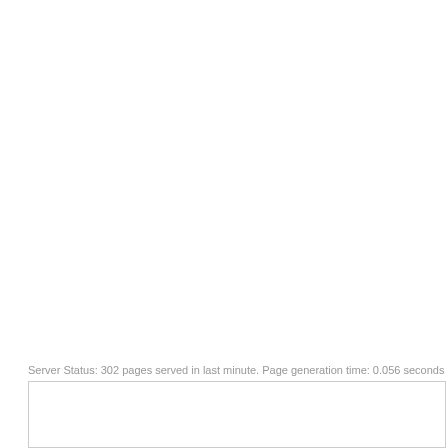Server Status: 302 pages served in last minute. Page generation time: 0.056 seconds
[Figure (other): Empty white box with a thin gray border, positioned at the bottom of the page]